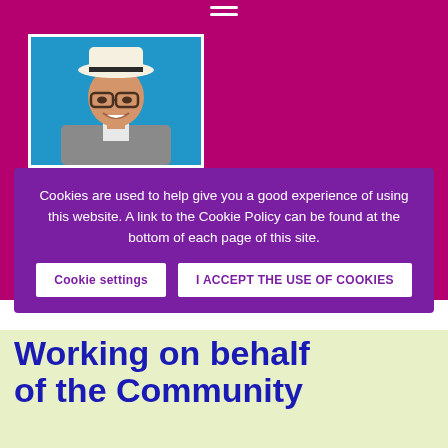[Figure (photo): Portrait photo of a smiling man wearing a white hat with black band and glasses, in a blue background setting]
Cookies are used to help give you a good experience of using this website. A link to the Cookie Policy can be found at the bottom of each page of this site.
Cookie settings
I ACCEPT THE USE OF COOKIES
Working on behalf of the Community